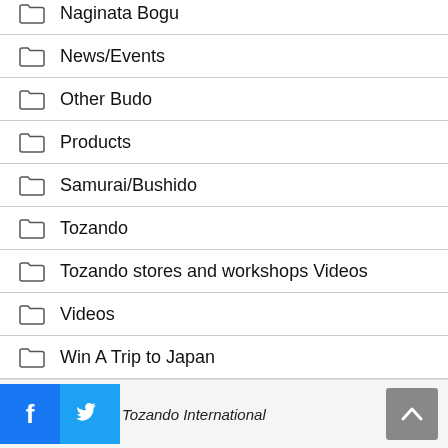Naginata Bogu
News/Events
Other Budo
Products
Samurai/Bushido
Tozando
Tozando stores and workshops Videos
Videos
Win A Trip to Japan
Tozando International